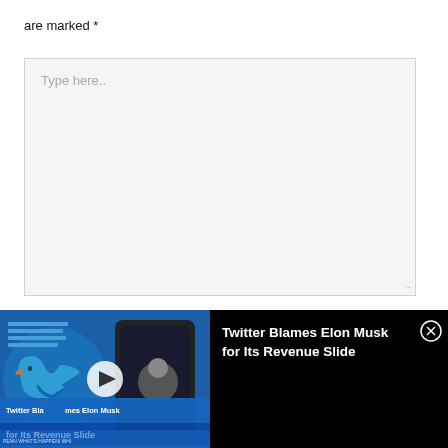are marked *
[Figure (screenshot): Large empty textarea input box with placeholder text 'Type here..' and resize handle at bottom right]
[Figure (screenshot): Video player bar at bottom showing Twitter bird logo with text overlay 'Twitter Blames Elon Musk for Its Revenue Slide' on left thumbnail, and same title text on right dark panel with close X button]